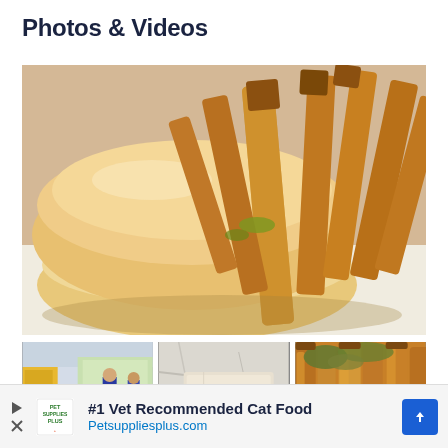Photos & Videos
[Figure (photo): Close-up photo of a hot dog with mustard in a bun, surrounded by thick-cut french fries on a white surface]
[Figure (photo): Interior of a diner or food establishment with people at a counter and large windows]
[Figure (photo): Close-up of wrapped food item, possibly a sandwich in paper]
[Figure (photo): Close-up of thick-cut french fries with some green topping]
#1 Vet Recommended Cat Food Petsuppliesplus.com